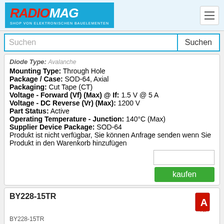RADIOMAG - SHOP VON ELEKTRONISCHEN BAUELEMENTEN
Suchen [search bar]
Diode Type: Avalanche
Mounting Type: Through Hole
Package / Case: SOD-64, Axial
Packaging: Cut Tape (CT)
Voltage - Forward (Vf) (Max) @ If: 1.5 V @ 5 A
Voltage - DC Reverse (Vr) (Max): 1200 V
Part Status: Active
Operating Temperature - Junction: 140°C (Max)
Supplier Device Package: SOD-64
Produkt ist nicht verfügbar, Sie können Anfrage senden wenn Sie Produkt in den Warenkorb hinzufügen
BY228-15TR
[Figure (logo): PDF icon (red Acrobat logo)]
BY228-15TR
Hersteller: Vishay General Semiconductor - Diodes Division
Description: DIODE AVALANCHE 1.2KV 3A SOD64
Current - Reverse Leakage @ Vr: 5 μA @ 1200